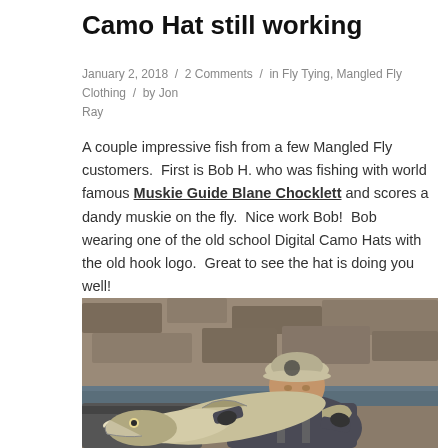Camo Hat still working
January 2, 2018 / 2 Comments / in Fly Tying, Mangled Fly Clothing / by Jon Ray
A couple impressive fish from a few Mangled Fly customers. First is Bob H. who was fishing with world famous Muskie Guide Blane Chocklett and scores a dandy muskie on the fly. Nice work Bob! Bob wearing one of the old school Digital Camo Hats with the old hook logo. Great to see the hat is doing you well!
[Figure (photo): Man on a boat holding a large muskie fish (likely a muskie), wearing a camo hat. Rocky riverbank and bare trees visible in background.]